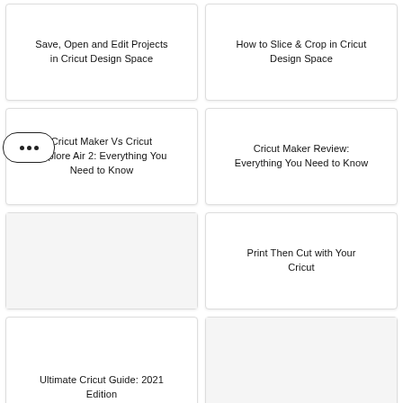Save, Open and Edit Projects in Cricut Design Space
How to Slice & Crop in Cricut Design Space
Cricut Maker Vs Cricut Explore Air 2: Everything You Need to Know
Cricut Maker Review: Everything You Need to Know
Print Then Cut with Your Cricut
Ultimate Cricut Guide: 2021 Edition